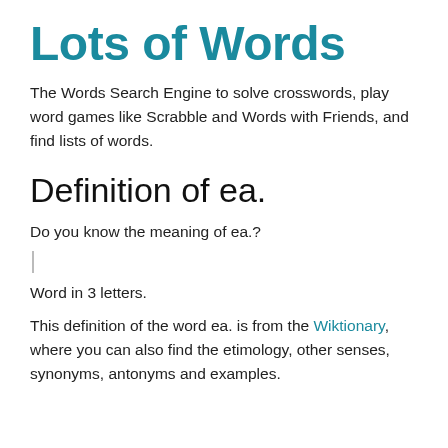Lots of Words
The Words Search Engine to solve crosswords, play word games like Scrabble and Words with Friends, and find lists of words.
Definition of ea.
Do you know the meaning of ea.?
Word in 3 letters.
This definition of the word ea. is from the Wiktionary, where you can also find the etimology, other senses, synonyms, antonyms and examples.